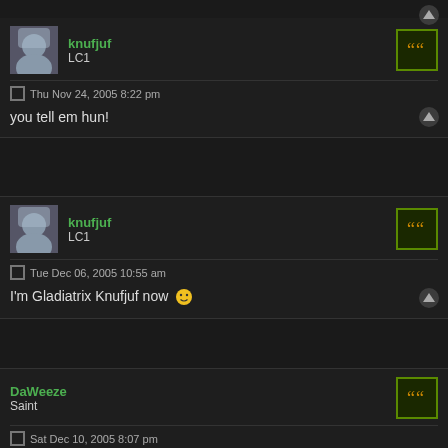knufjuf LC1
Thu Nov 24, 2005 8:22 pm
you tell em hun!
knufjuf LC1
Tue Dec 06, 2005 10:55 am
I'm Gladiatrix Knufjuf now 🙂
DaWeeze Saint
Sat Dec 10, 2005 8:07 pm